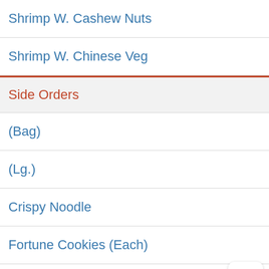Shrimp W. Cashew Nuts
Shrimp W. Chinese Veg
Side Orders
(Bag)
(Lg.)
Crispy Noodle
Fortune Cookies (Each)
Homemade Crispy Noodle
Hot Tea
White Rice